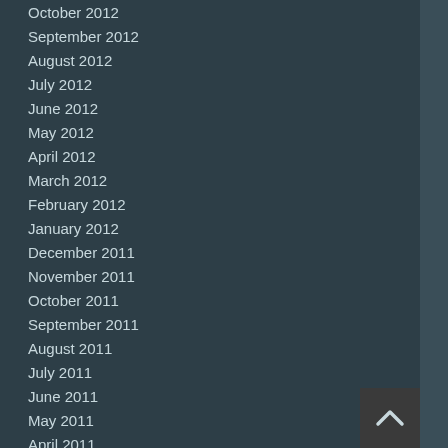October 2012
September 2012
August 2012
July 2012
June 2012
May 2012
April 2012
March 2012
February 2012
January 2012
December 2011
November 2011
October 2011
September 2011
August 2011
July 2011
June 2011
May 2011
April 2011
March 2011
February 2011
January 2011
December 2010